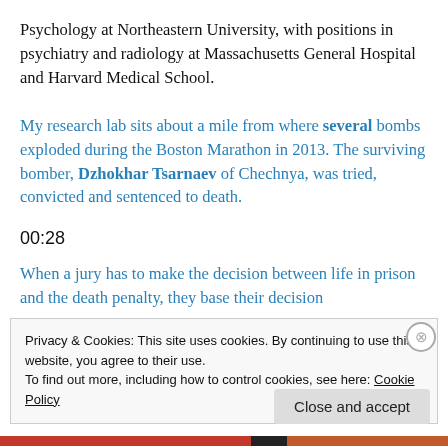Psychology at Northeastern University, with positions in psychiatry and radiology at Massachusetts General Hospital and Harvard Medical School.
My research lab sits about a mile from where several bombs exploded during the Boston Marathon in 2013. The surviving bomber, Dzhokhar Tsarnaev of Chechnya, was tried, convicted and sentenced to death.
00:28
When a jury has to make the decision between life in prison and the death penalty, they base their decision
Privacy & Cookies: This site uses cookies. By continuing to use this website, you agree to their use.
To find out more, including how to control cookies, see here: Cookie Policy
Close and accept